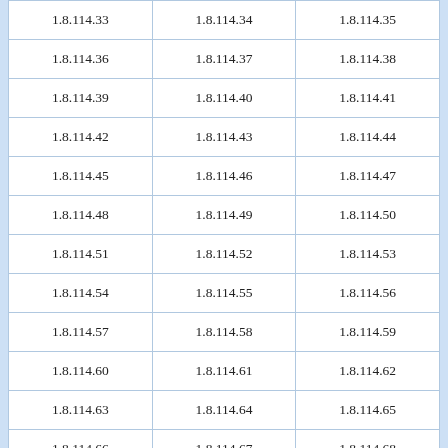| 1.8.114.33 | 1.8.114.34 | 1.8.114.35 |
| 1.8.114.36 | 1.8.114.37 | 1.8.114.38 |
| 1.8.114.39 | 1.8.114.40 | 1.8.114.41 |
| 1.8.114.42 | 1.8.114.43 | 1.8.114.44 |
| 1.8.114.45 | 1.8.114.46 | 1.8.114.47 |
| 1.8.114.48 | 1.8.114.49 | 1.8.114.50 |
| 1.8.114.51 | 1.8.114.52 | 1.8.114.53 |
| 1.8.114.54 | 1.8.114.55 | 1.8.114.56 |
| 1.8.114.57 | 1.8.114.58 | 1.8.114.59 |
| 1.8.114.60 | 1.8.114.61 | 1.8.114.62 |
| 1.8.114.63 | 1.8.114.64 | 1.8.114.65 |
| 1.8.114.66 | 1.8.114.67 | 1.8.114.68 |
| 1.8.114.69 | 1.8.114.70 | 1.8.114.71 |